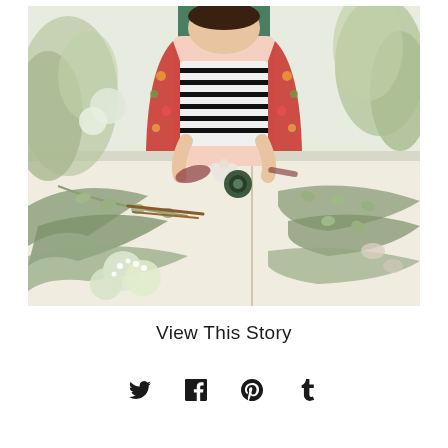[Figure (photo): A person wearing a colorful floral kimono over a black and white striped shirt, holding small white flowers, standing behind a white table covered with various green foliage, eucalyptus branches, small white flowers, and floral arrangement tools including tape and scissors.]
View This Story
[Figure (infographic): Row of four social media share icons: Twitter bird icon, Facebook f icon, Pinterest P icon, Tumblr t icon]